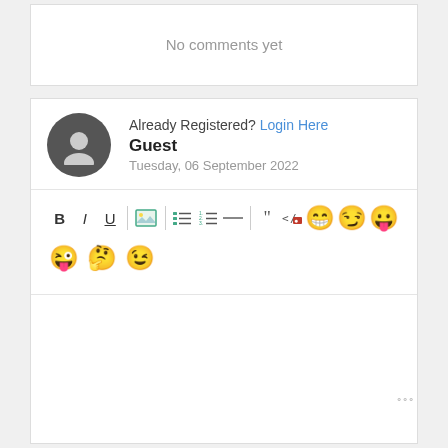No comments yet
Already Registered? Login Here
Guest
Tuesday, 06 September 2022
[Figure (screenshot): Comment editor toolbar with formatting buttons (Bold, Italic, Underline, Image, List, Ordered List, HR, Quote, Code/Erase) and emoji icons (laughing, smirking, tongue, tongue wink, thinking, winking smile), followed by an empty text area with resize handle.]